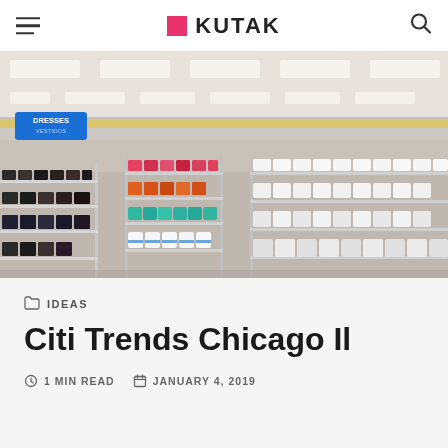KUTAK
[Figure (photo): Interior of a Citi Trends retail store showing rows of shoe racks filled with various styles of footwear. A blue sign reading 'DRESSES VESTIDOS' is visible in the background. The store has fluorescent lighting and colorful merchandise.]
IDEAS
Citi Trends Chicago Il
1 MIN READ   JANUARY 4, 2019